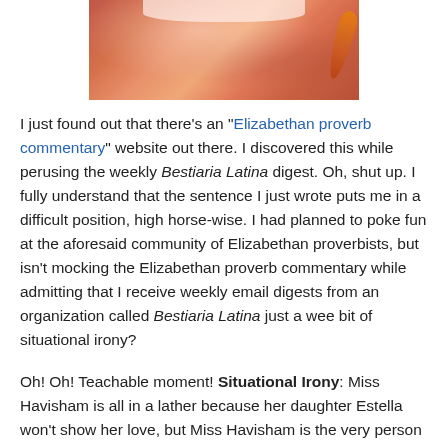[Figure (photo): A colorful photograph showing ornate reddish-orange fabric or costume elements with lace and feathers at the top.]
I just found out that there's an "Elizabethan proverb commentary" website out there. I discovered this while perusing the weekly Bestiaria Latina digest. Oh, shut up. I fully understand that the sentence I just wrote puts me in a difficult position, high horse-wise. I had planned to poke fun at the aforesaid community of Elizabethan proverbists, but isn't mocking the Elizabethan proverb commentary while admitting that I receive weekly email digests from an organization called Bestiaria Latina just a wee bit of situational irony?
Oh! Oh! Teachable moment! Situational Irony: Miss Havisham is all in a lather because her daughter Estella won't show her love, but Miss Havisham is the very person who raised her to have no heart. Doh.